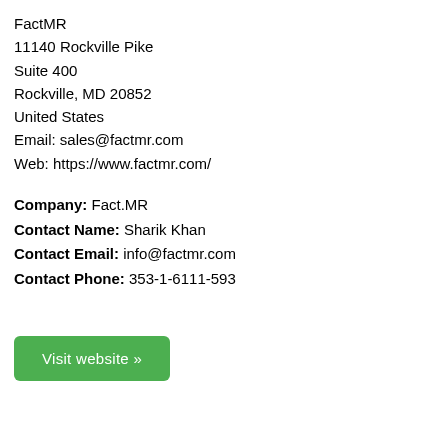FactMR
11140 Rockville Pike
Suite 400
Rockville, MD 20852
United States
Email: sales@factmr.com
Web: https://www.factmr.com/
Company: Fact.MR
Contact Name: Sharik Khan
Contact Email: info@factmr.com
Contact Phone: 353-1-6111-593
Visit website »